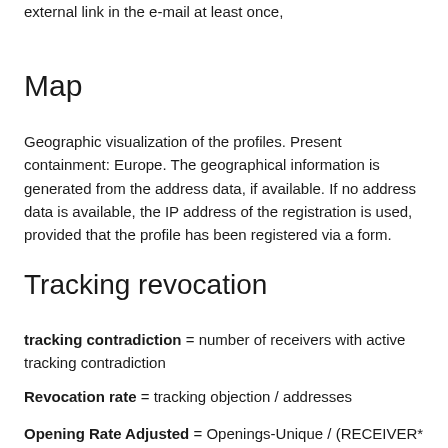external link in the e-mail at least once,
Map
Geographic visualization of the profiles. Present containment: Europe. The geographical information is generated from the address data, if available. If no address data is available, the IP address of the registration is used, provided that the profile has been registered via a form.
Tracking revocation
tracking contradiction = number of receivers with active tracking contradiction
Revocation rate = tracking objection / addresses
Opening Rate Adjusted = Openings-Unique / (RECEIVER*